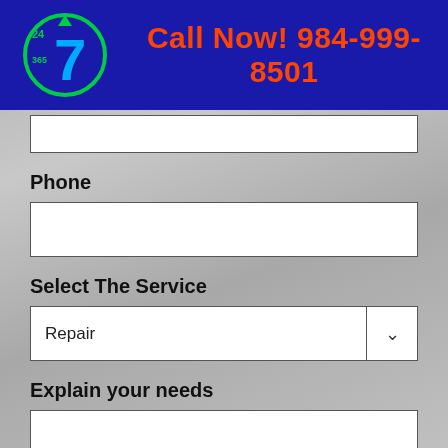Call Now! 984-999-8501
Phone
Select The Service
Repair
Explain your needs
CAPTCHA